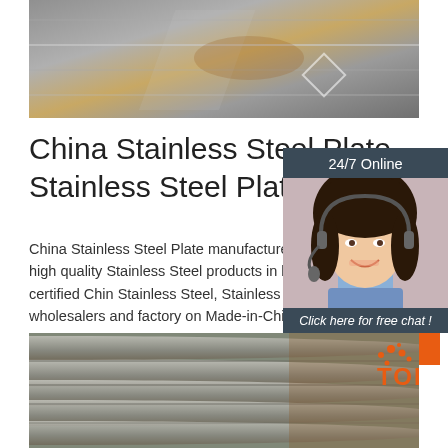[Figure (photo): Close-up photo of stainless steel plates stacked, showing metallic grey surface with slight rust/oxidation marks]
China Stainless Steel Plate Stainless Steel Plate ...
China Stainless Steel Plate manufacture Select 2021 high quality Stainless Steel products in best price from certified China Stainless Steel, Stainless Steel Material wholesalers and factory on Made-in-Chi...
[Figure (photo): Customer service agent widget showing a smiling woman with headset, dark hair, wearing light blue shirt. Dark blue/grey background with '24/7 Online' header, 'Click here for free chat!' message and orange QUOTATION button]
[Figure (photo): Close-up photo of steel rebar/deformed bars bundled together, showing ribbed metallic grey surface with some rust coloring. Orange TOP logo visible in bottom right.]